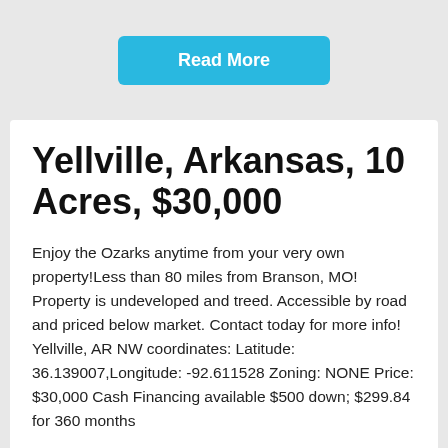[Figure (other): Blue 'Read More' button at top of page]
Yellville, Arkansas, 10 Acres, $30,000
Enjoy the Ozarks anytime from your very own property!Less than 80 miles from Branson, MO! Property is undeveloped and treed. Accessible by road and priced below market. Contact today for more info! Yellville, AR NW coordinates: Latitude: 36.139007,Longitude: -92.611528 Zoning: NONE Price: $30,000 Cash Financing available $500 down; $299.84 for 360 months
[Figure (other): Blue 'Read More' button at bottom of page, with a light blue scroll-up arrow button at bottom right]